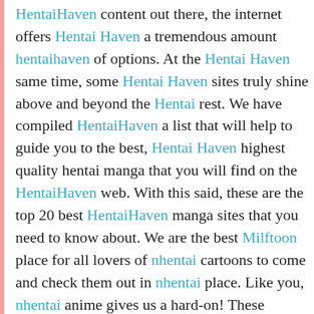HentaiHaven content out there, the internet offers Hentai Haven a tremendous amount hentaihaven of options. At the Hentai Haven same time, some Hentai Haven sites truly shine above and beyond the Hentai rest. We have compiled HentaiHaven a list that will help to guide you to the best, Hentai Haven highest quality hentai manga that you will find on the HentaiHaven web. With this said, these are the top 20 best HentaiHaven manga sites that you need to know about. We are the best Milftoon place for all lovers of nhentai cartoons to come and check them out in nhentai place. Like you, nhentai anime gives us a hard-on! These nhentai sites we've checked out guaranteed will not leave nhentai you indifferent because hanime here you will see Hanime thousands of Hanime TV hentai vids, that you won't know what to watch next. Anime Hentai has had a big impact all over the